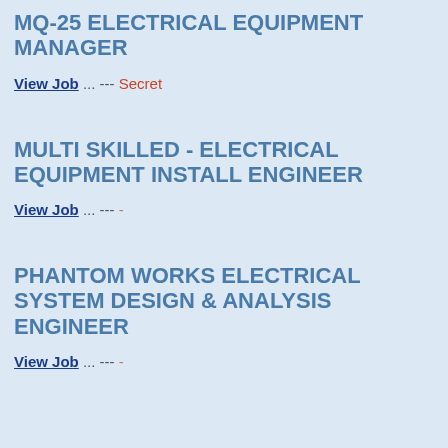MQ-25 ELECTRICAL EQUIPMENT MANAGER
View Job ... --- Secret
MULTI SKILLED - ELECTRICAL EQUIPMENT INSTALL ENGINEER
View Job ... --- -
PHANTOM WORKS ELECTRICAL SYSTEM DESIGN & ANALYSIS ENGINEER
View Job ... --- -